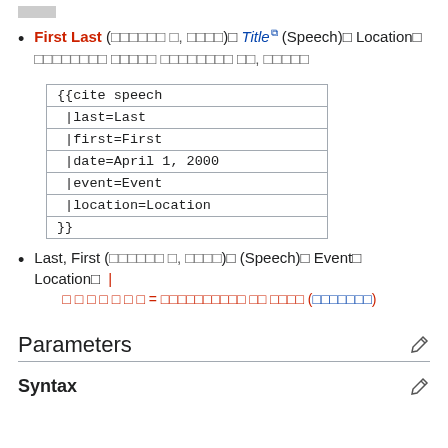First Last (garbled date) Title (Speech) Location garbled text
{{cite speech |last=Last |first=First |date=April 1, 2000 |event=Event |location=Location }}
Last, First (garbled date) (Speech) Event Location | garbled red text = garbled (garbled)
Parameters
Syntax